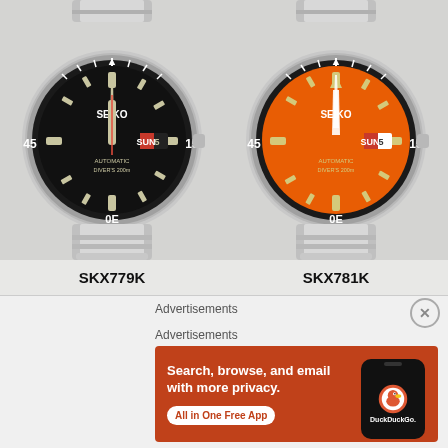[Figure (photo): Two Seiko Monster dive watches side by side. Left watch (SKX779K) has a black dial with silver/luminous hour markers, day-date window showing SUN 5, Seiko branding, Automatic DIVER'S 200m text, stainless steel bracelet. Right watch (SKX781K) has an orange dial with same layout but orange background, day-date showing SUN 5, stainless steel bracelet. Both have rotating bezels with markings at 0E, 15, 45 positions.]
SKX779K
SKX781K
Advertisements
Advertisements
[Figure (screenshot): DuckDuckGo advertisement banner with orange background. Left side text: 'Search, browse, and email with more privacy.' with a white pill button 'All in One Free App'. Right side shows a black smartphone mockup with DuckDuckGo logo (circle with duck icon) and text 'DuckDuckGo.' underneath.]